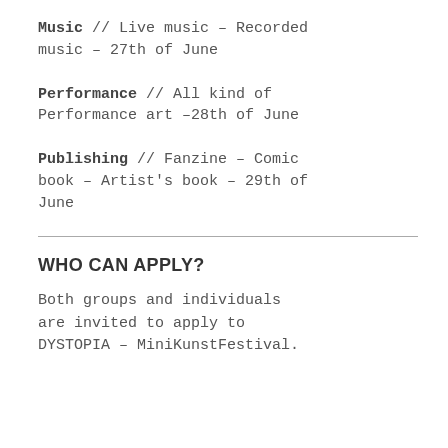Music // Live music – Recorded music – 27th of June
Performance // All kind of Performance art –28th of June
Publishing // Fanzine – Comic book – Artist's book – 29th of June
WHO CAN APPLY?
Both groups and individuals are invited to apply to DYSTOPIA – MiniKunstFestival.